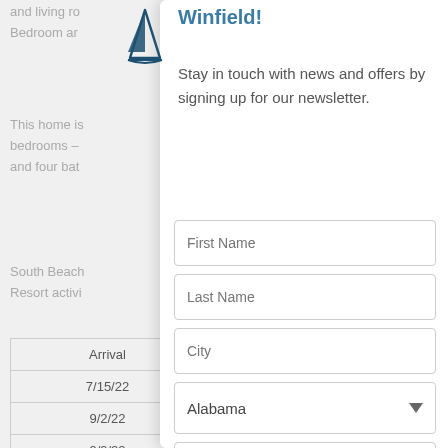and living ro
Bedroom ar
This home is
bedrooms –
and four bat
South Beach
Resort activi
| Arrival |
| --- |
| 7/15/22 |
| 9/2/22 |
| 9/9/22 |
| 9/16/22 |
| 9/23/22 |
Winfield!
Stay in touch with news and offers by signing up for our newsletter.
First Name
Last Name
City
Alabama
Email
Send